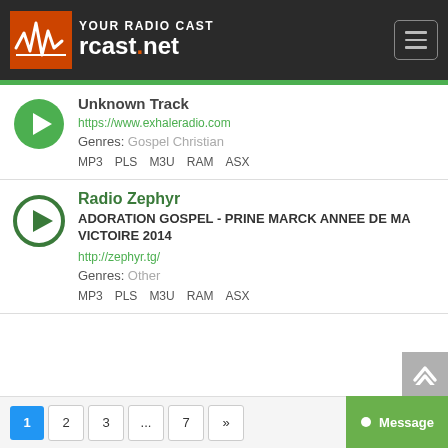[Figure (logo): Your Radio Cast rcast.net logo with hamburger menu on dark background]
Unknown Track
https://www.exhaleradio.com
Genres: Gospel Christian
MP3  PLS  M3U  RAM  ASX
Radio Zephyr
ADORATION GOSPEL - PRINE MARCK ANNEE DE MA VICTOIRE 2014
http://zephyr.tg/
Genres: Other
MP3  PLS  M3U  RAM  ASX
1  2  3  ...  7  »  Message